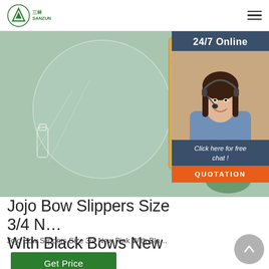[Figure (logo): Sanzun company logo with green triangle/mountain symbol and Chinese characters]
[Figure (photo): Product hero image showing bamboo toothbrush packaging with mint green background, bamboo case, ceramic holder, and toothbrush]
[Figure (photo): 24/7 Online customer service panel showing a female customer service agent with headset, dark blue background, with 'Click here for free chat!' text and orange QUOTATION button]
Jojo Bow Slippers Size 3/4 New Pink With Black Bows New
Jojo Bow Slippers Size 3/4 New Pink With Black Bows New
[Figure (other): Green Get Price button]
[Figure (other): Gray circular back-to-top arrow button]